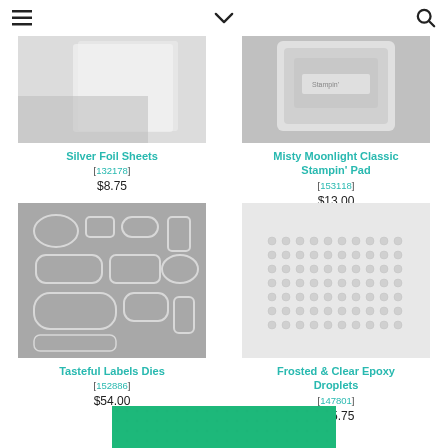Navigation bar with hamburger menu, chevron, and search icon
[Figure (photo): Silver Foil Sheets product image]
Silver Foil Sheets
[132178]
$8.75
[Figure (photo): Misty Moonlight Classic Stampin' Pad product image]
Misty Moonlight Classic Stampin' Pad
[153118]
$13.00
[Figure (photo): Tasteful Labels Dies product image showing various label die shapes on grey background]
Tasteful Labels Dies
[152886]
$54.00
[Figure (photo): Frosted & Clear Epoxy Droplets product image showing small clear dots arranged in rows]
Frosted & Clear Epoxy Droplets
[147801]
$15.75
[Figure (photo): Partial product image with green/teal background visible at bottom]